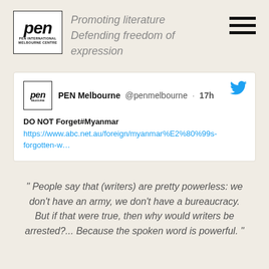[Figure (logo): PEN International Melbourne Centre logo — bold italic 'pen' text with small subtitle text below]
Promoting literature Defending freedom of expression
[Figure (other): Tweet from PEN Melbourne (@penmelbourne) posted 17h ago: 'DO NOT Forget#Myanmar https://www.abc.net.au/foreign/myanmar%E2%80%99s-forgotten-w…']
" People say that (writers) are pretty powerless: we don't have an army, we don't have a bureaucracy. But if that were true, then why would writers be arrested?... Because the spoken word is powerful."